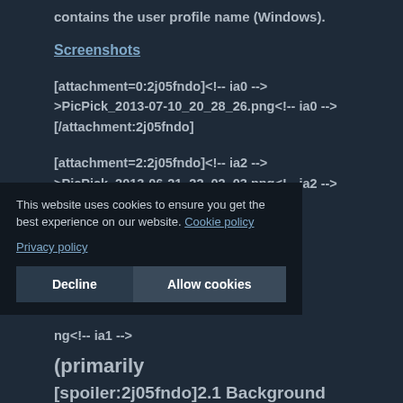contains the user profile name (Windows).
Screenshots
[attachment=0:2j05fndo]<!-- ia0 -->PicPick_2013-07-10_20_28_26.png<!-- ia0 -->[/attachment:2j05fndo]
[attachment=2:2j05fndo]<!-- ia2 -->PicPick_2013-06-21_22_02_03.png<!-- ia2 -->[/attachment:2j05fndo]
ng<!-- ia1 -->
(primarily
[spoiler:2j05fndo]2.1 Background
This website uses cookies to ensure you get the best experience on our website. Cookie policy
Privacy policy